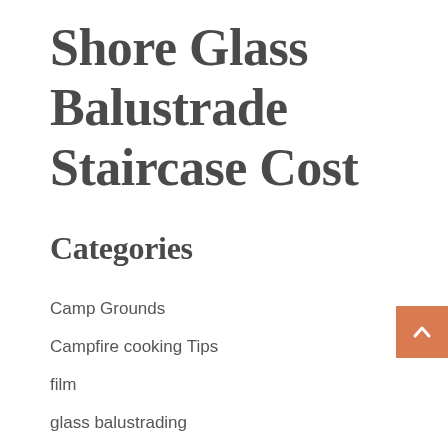Shore Glass Balustrade Staircase Cost
Categories
Camp Grounds
Campfire cooking Tips
film
glass balustrading
Latest News
Liverpool NSW 2170
Media
Web Design